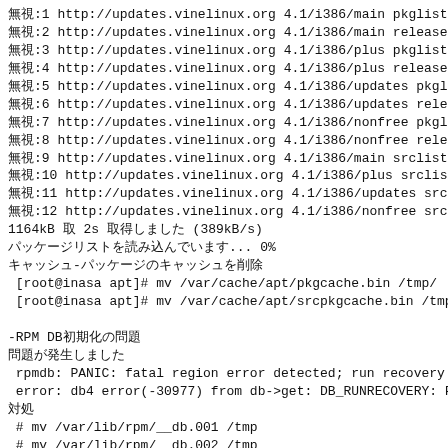無視:1 http://updates.vinelinux.org 4.1/i386/main pkglist
無視:2 http://updates.vinelinux.org 4.1/i386/main release
無視:3 http://updates.vinelinux.org 4.1/i386/plus pkglist
無視:4 http://updates.vinelinux.org 4.1/i386/plus release
無視:5 http://updates.vinelinux.org 4.1/i386/updates pkgl...
無視:6 http://updates.vinelinux.org 4.1/i386/updates relea...
無視:7 http://updates.vinelinux.org 4.1/i386/nonfree pkgl...
無視:8 http://updates.vinelinux.org 4.1/i386/nonfree relea...
無視:9 http://updates.vinelinux.org 4.1/i386/main srclist
無視:10 http://updates.vinelinux.org 4.1/i386/plus srclist...
無視:11 http://updates.vinelinux.org 4.1/i386/updates src...
無視:12 http://updates.vinelinux.org 4.1/i386/nonfree src...
1164kB 取 2s 取得しました (389kB/s)
パッケージリストを読み込んでいます... 0%
キャッシュ-パッケージのキャッシュを削除
 [root@inasa apt]# mv /var/cache/apt/pkgcache.bin /tmp/
 [root@inasa apt]# mv /var/cache/apt/srcpkgcache.bin /tmp

-RPM DB初期化の問題
問題が発生しました
 rpmdb: PANIC: fatal region error detected; run recovery
 error: db4 error(-30977) from db->get: DB_RUNRECOVERY: F
対処
 # mv /var/lib/rpm/__db.001 /tmp
 # mv /var/lib/rpm/__db.002 /tmp
[root@inasa apt]# mv /var/cache/apt/pkgcache.bin /tmp/
[root@inasa apt]# mv /var/cache/apt/srcpkgcache.bin /tmp
rpmdb: PANIC: fatal region error detected; run recovery
error: db4 error(-30977) from db->get: DB_RUNRECOVERY: F
# mv /var/lib/rpm/__db.001 /tmp
# mv /var/lib/rpm/__db.002 /tmp